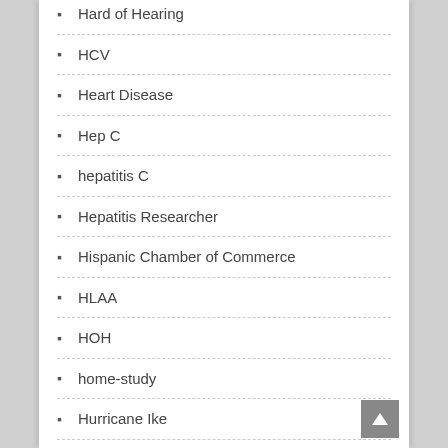Hard of Hearing
HCV
Heart Disease
Hep C
hepatitis C
Hepatitis Researcher
Hispanic Chamber of Commerce
HLAA
HOH
home-study
Hurricane Ike
Hurricane Katrina
HV with HCV
Interpreter